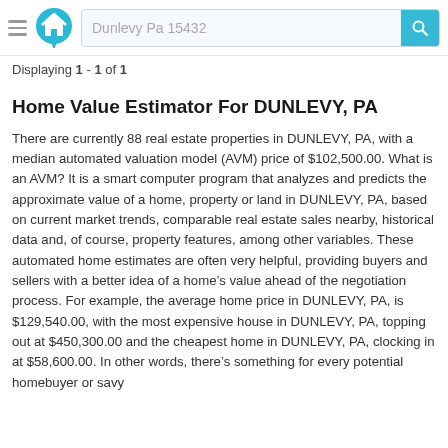Dunlevy Pa 15432
Displaying 1 - 1 of 1
Home Value Estimator For DUNLEVY, PA
There are currently 88 real estate properties in DUNLEVY, PA, with a median automated valuation model (AVM) price of $102,500.00. What is an AVM? It is a smart computer program that analyzes and predicts the approximate value of a home, property or land in DUNLEVY, PA, based on current market trends, comparable real estate sales nearby, historical data and, of course, property features, among other variables. These automated home estimates are often very helpful, providing buyers and sellers with a better idea of a home’s value ahead of the negotiation process. For example, the average home price in DUNLEVY, PA, is $129,540.00, with the most expensive house in DUNLEVY, PA, topping out at $450,300.00 and the cheapest home in DUNLEVY, PA, clocking in at $58,600.00. In other words, there’s something for every potential homebuyer or savy